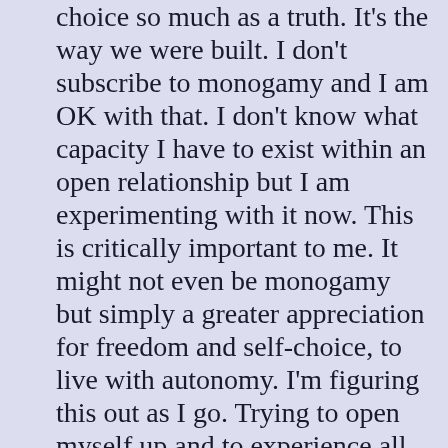choice so much as a truth. It's the way we were built. I don't subscribe to monogamy and I am OK with that. I don't know what capacity I have to exist within an open relationship but I am experimenting with it now. This is critically important to me. It might not even be monogamy but simply a greater appreciation for freedom and self-choice, to live with autonomy. I'm figuring this out as I go. Trying to open myself up and to experience all of the emotions and really sit with it to understand. More importantly, I cannot enter into a relationship that isn't open. I trust this.
I am on a psychedelic journey. The very sentence sounds comical. Okay, Aglaia....but it's true. It started with aya and I have since been doing real therapeutic work with psilocybin. I am excited and encouraged by how this has opened me up. Acceptance of